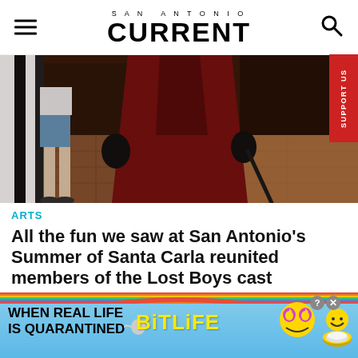SAN ANTONIO CURRENT
[Figure (photo): A person in a dark red/maroon theatrical costume with black gloves and a cane, walking on a tiled floor with dramatic lighting. Partial view of another person in shorts visible to the left.]
ARTS
All the fun we saw at San Antonio's Summer of Santa Carla reunited members of the Lost Boys cast
By San Antonio Current Staff | Aug 20, 2022
[Figure (screenshot): Advertisement for BitLife mobile game with rainbow header, text 'WHEN REAL LIFE IS QUARANTINED' and BitLife logo with emoji characters.]